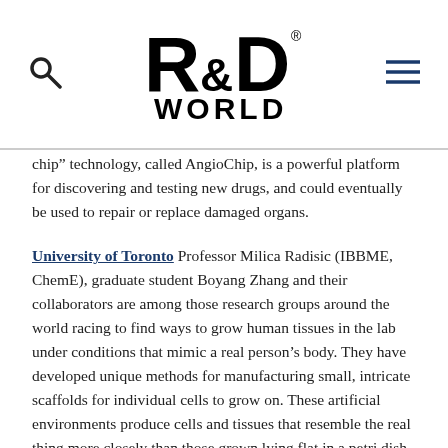R&D WORLD [logo with search and menu icons]
chip” technology, called AngioChip, is a powerful platform for discovering and testing new drugs, and could eventually be used to repair or replace damaged organs.
University of Toronto Professor Milica Radisic (IBBME, ChemE), graduate student Boyang Zhang and their collaborators are among those research groups around the world racing to find ways to grow human tissues in the lab under conditions that mimic a real person’s body. They have developed unique methods for manufacturing small, intricate scaffolds for individual cells to grow on. These artificial environments produce cells and tissues that resemble the real thing more closely than those grown lying flat in a petri dish.
The team’s recent creations have included Biowire — an innovative method of growing heart cells around a silk suture — as